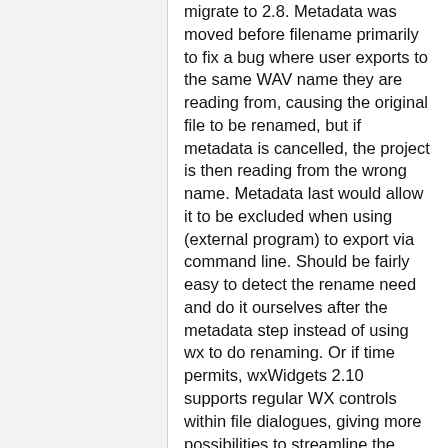migrate to 2.8. Metadata was moved before filename primarily to fix a bug where user exports to the same WAV name they are reading from, causing the original file to be renamed, but if metadata is cancelled, the project is then reading from the wrong name. Metadata last would allow it to be excluded when using (external program) to export via command line. Should be fairly easy to detect the rename need and do it ourselves after the metadata step instead of using wx to do renaming. Or if time permits, wxWidgets 2.10 supports regular WX controls within file dialogues, giving more possibilities to streamline the process (for example an export tree within one dialogue